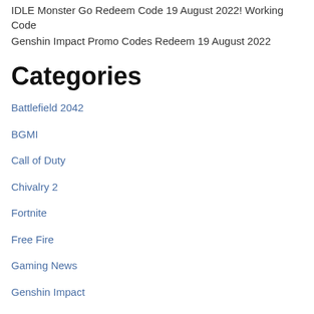IDLE Monster Go Redeem Code 19 August 2022! Working Code
Genshin Impact Promo Codes Redeem 19 August 2022
Categories
Battlefield 2042
BGMI
Call of Duty
Chivalry 2
Fortnite
Free Fire
Gaming News
Genshin Impact